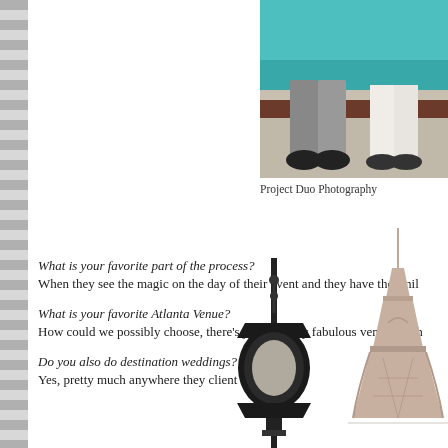[Figure (photo): Partial photo of a couple sitting on a teal/turquoise sofa, visible from knees down, cropped at top.]
Project Duo Photography
What is your favorite part of the process?
When they see the magic on the day of their event and they have the smil
What is your favorite Atlanta Venue?
How could we possibly choose, there's just so many fabulous venues in th
Do you also do destination weddings? Where?
Yes, pretty much anywhere they client wants!
[Figure (photo): Parisian street lamp lantern, cropped photo showing the black ornate globe lamp against white background.]
[Figure (photo): Eiffel Tower photograph, partially visible at right edge, close-up of tower structure.]